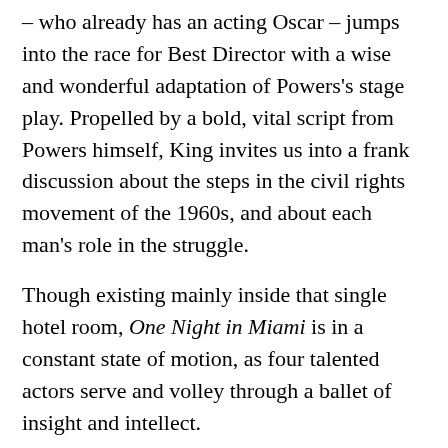– who already has an acting Oscar – jumps into the race for Best Director with a wise and wonderful adaptation of Powers's stage play. Propelled by a bold, vital script from Powers himself, King invites us into a frank discussion about the steps in the civil rights movement of the 1960s, and about each man's role in the struggle.
Though existing mainly inside that single hotel room, One Night in Miami is in a constant state of motion, as four talented actors serve and volley through a ballet of insight and intellect.
Portraying a bigger-than life-personality such as Clay without a hint of caricature is no easy feat, but Eli Goree handles it with smooth charisma.
Clay's braggadocio is as playful and charming as you remember, but Goree also finds authentic shades of apprehension about the societal role Clay (who would publicly join the Nation of Islam and announce his name change to